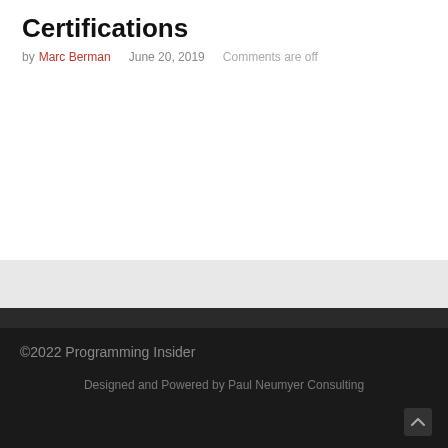Certifications
by Marc Berman   June 20, 2019   Comments are off
©2022 Programming Insider
Designed and Powered by Paul Neumyer Consulting